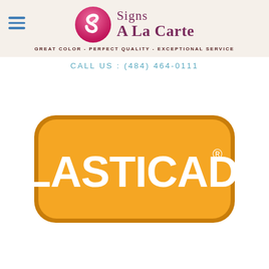Signs A La Carte
GREAT COLOR - PERFECT QUALITY - EXCEPTIONAL SERVICE
CALL US : (484) 464-0111
[Figure (logo): Plasticade logo — orange rounded rectangle with white bold text reading PLASTICADE and a registered trademark symbol]